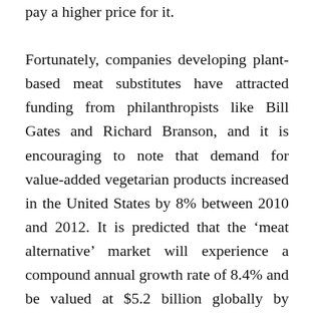pay a higher price for it.

Fortunately, companies developing plant-based meat substitutes have attracted funding from philanthropists like Bill Gates and Richard Branson, and it is encouraging to note that demand for value-added vegetarian products increased in the United States by 8% between 2010 and 2012. It is predicted that the 'meat alternative' market will experience a compound annual growth rate of 8.4% and be valued at $5.2 billion globally by 2020. [lxxx] Promising, yes, but still miniscule compared to current meat and dairy production. For example, in 2013 meat and poultry sales in the US totalled $198 billion, and the industry, overall, represented about